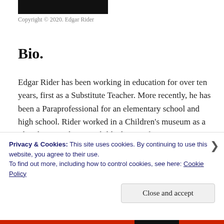[Figure (photo): Dark banner/header image at top of page]
Copyright © 2020. Edgar Rider
Bio.
Edgar Rider has been working in education for over ten years, first as a Substitute Teacher. More recently, he has been a Paraprofessional for an elementary school and high school. Rider worked in a Children's museum as a Playologist and was a Child advocate for a Domestic Violence shelter. He has published articles on education topics and…
Privacy & Cookies: This site uses cookies. By continuing to use this website, you agree to their use.
To find out more, including how to control cookies, see here: Cookie Policy
Close and accept